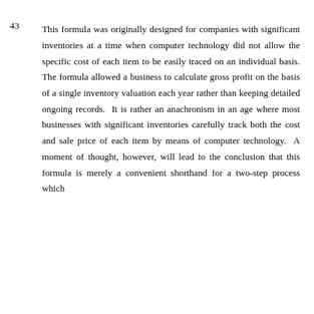43    This formula was originally designed for companies with significant inventories at a time when computer technology did not allow the specific cost of each item to be easily traced on an individual basis. The formula allowed a business to calculate gross profit on the basis of a single inventory valuation each year rather than keeping detailed ongoing records.  It is rather an anachronism in an age where most businesses with significant inventories carefully track both the cost and sale price of each item by means of computer technology.  A moment of thought, however, will lead to the conclusion that this formula is merely a convenient shorthand for a two-step process which